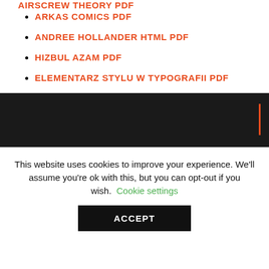AIRSCREW THEORY PDF
ARKAS COMICS PDF
ANDREE HOLLANDER HTML PDF
HIZBUL AZAM PDF
ELEMENTARZ STYLU W TYPOGRAFII PDF
[Figure (other): Dark black banner section with an orange vertical bar on the right side]
This website uses cookies to improve your experience. We'll assume you're ok with this, but you can opt-out if you wish. Cookie settings
ACCEPT